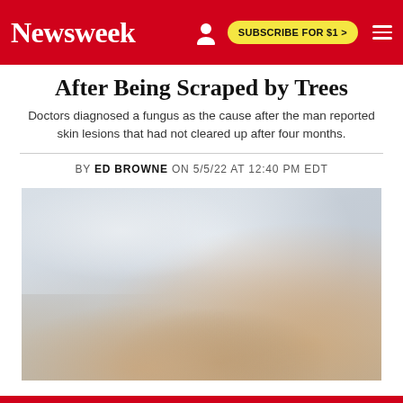Newsweek | SUBSCRIBE FOR $1 >
After Being Scraped by Trees
Doctors diagnosed a fungus as the cause after the man reported skin lesions that had not cleared up after four months.
BY ED BROWNE ON 5/5/22 AT 12:40 PM EDT
[Figure (photo): A medical professional using a stethoscope on an elderly patient lying down, with another person's hands clasped over the patient's hand in a comforting gesture. Warm tones, blurred background.]